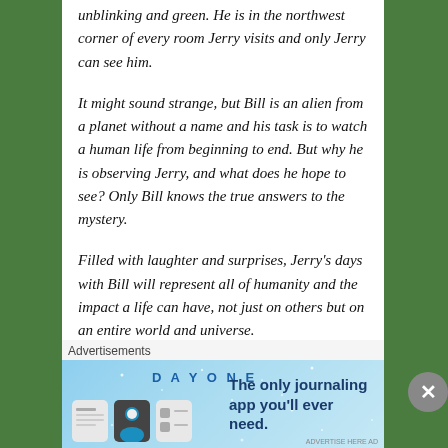unblinking and green. He is in the northwest corner of every room Jerry visits and only Jerry can see him.
It might sound strange, but Bill is an alien from a planet without a name and his task is to watch a human life from beginning to end. But why he is observing Jerry, and what does he hope to see? Only Bill knows the true answers to the mystery.
Filled with laughter and surprises, Jerry's days with Bill will represent all of humanity and the impact a life can have, not just on others but on an entire world and universe.
In Jerry's Corner is about the importance of a single life... and the amazing green individual watching it all take place.
You can learn more about the book (and me) on the publisher's website here. I can't wait to share this latest
Advertisements
[Figure (other): Day One journaling app advertisement banner with blue background, app icon illustrations, and text 'The only journaling app you'll ever need.']